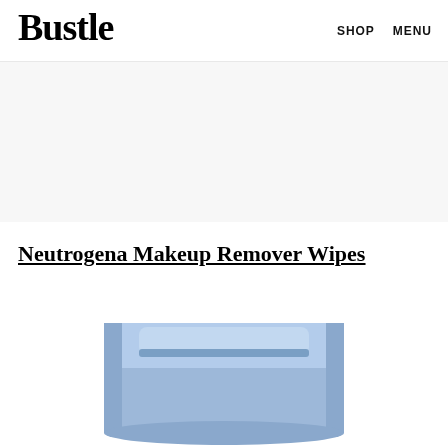Bustle   SHOP   MENU
[Figure (other): Gray advertisement banner area]
Neutrogena Makeup Remover Wipes
[Figure (photo): Bottom portion of a blue Neutrogena Makeup Remover Wipes package]